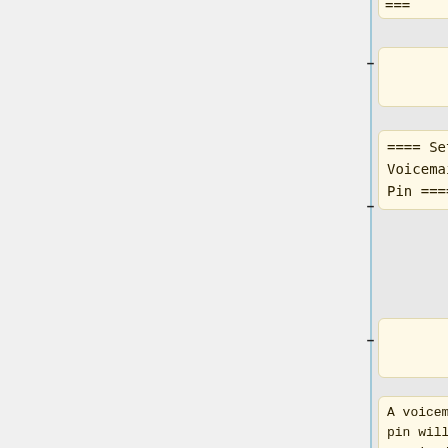===
==== Setting Voicemail Pin ====
A voicemail pin will be required to access voicemail and change voicemail settings. The pin '''must''' be set by the user. To set your